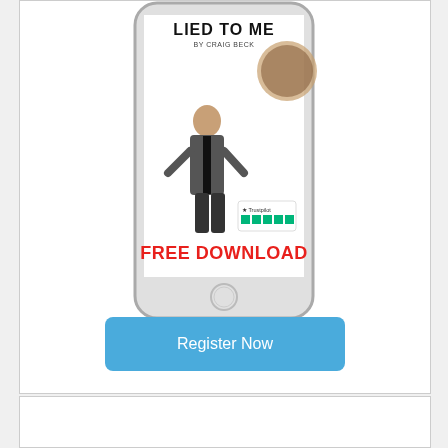[Figure (illustration): A smartphone mockup showing a book cover titled 'LIED TO ME' by Craig Beck, featuring a man in a suit and a coffee cup, with a Trustpilot 5-star rating and 'FREE DOWNLOAD' text in red.]
Register Now